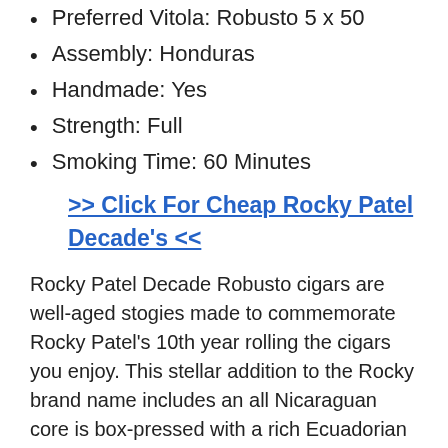Preferred Vitola: Robusto 5 x 50
Assembly: Honduras
Handmade: Yes
Strength: Full
Smoking Time: 60 Minutes
>> Click For Cheap Rocky Patel Decade's <<
Rocky Patel Decade Robusto cigars are well-aged stogies made to commemorate Rocky Patel's 10th year rolling the cigars you enjoy. This stellar addition to the Rocky brand name includes an all Nicaraguan core is box-pressed with a rich Ecuadorian Sumatra wrapper finishing this incredible cigar.
5. Oliva Serie O